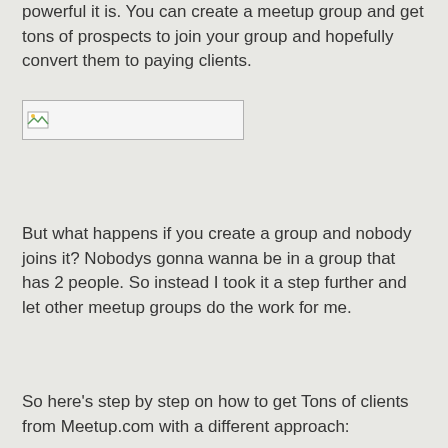powerful it is. You can create a meetup group and get tons of prospects to join your group and hopefully convert them to paying clients.
[Figure (other): Broken image placeholder with small landscape icon thumbnail on the left, rectangular border]
But what happens if you create a group and nobody joins it? Nobodys gonna wanna be in a group that has 2 people. So instead I took it a step further and let other meetup groups do the work for me.
So here's step by step on how to get Tons of clients from Meetup.com with a different approach: